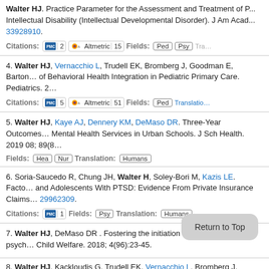Walter HJ. Practice Parameter for the Assessment and Treatment of P... Intellectual Disability (Intellectual Developmental Disorder). J Am Acad... 33928910.
Citations: PMC 2 Altmetric 15 Fields: Ped Psy Tra...
4. Walter HJ, Vernacchio L, Trudell EK, Bromberg J, Goodman E, Barton... of Behavioral Health Integration in Pediatric Primary Care. Pediatrics. 2...
Citations: PMC 5 Altmetric 51 Fields: Ped Translation:
5. Walter HJ, Kaye AJ, Dennery KM, DeMaso DR. Three-Year Outcomes... Mental Health Services in Urban Schools. J Sch Health. 2019 08; 89(8...
Fields: Hea Nur Translation: Humans
6. Soria-Saucedo R, Chung JH, Walter H, Soley-Bori M, Kazis LE. Facto... and Adolescents With PTSD: Evidence From Private Insurance Claims... 29962309.
Citations: PMC 1 Fields: Psy Translation: Humans
7. Walter HJ, DeMaso DR . Fostering the initiation of discretionary psych... Child Welfare. 2018; 4(96):23-45.
8. Walter HJ, Kackloudis G, Trudell EK, Vernacchio L, Bromberg J, DeMa...